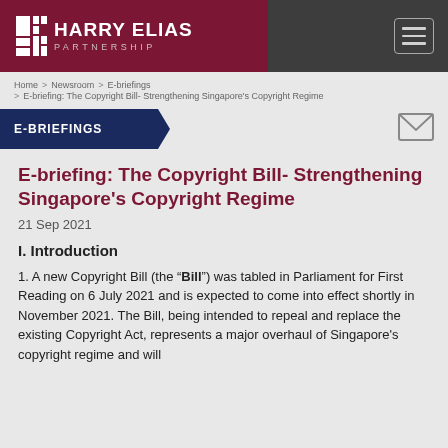Harry Elias Partnership
Home > Newsroom > E-briefings > E-briefing: The Copyright Bill- Strengthening Singapore's Copyright Regime
E-BRIEFINGS
E-briefing: The Copyright Bill- Strengthening Singapore's Copyright Regime
21 Sep 2021
I. Introduction
1. A new Copyright Bill (the "Bill") was tabled in Parliament for First Reading on 6 July 2021 and is expected to come into effect shortly in November 2021. The Bill, being intended to repeal and replace the existing Copyright Act, represents a major overhaul of Singapore's copyright regime and will